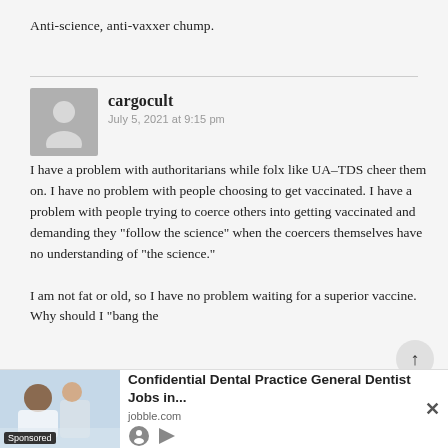Anti-science, anti-vaxxer chump.
cargocult
July 5, 2021 at 9:15 pm
I have a problem with authoritarians while folx like UA-TDS cheer them on. I have no problem with people choosing to get vaccinated. I have a problem with people trying to coerce others into getting vaccinated and demanding they “follow the science” when the coercers themselves have no understanding of “the science.”

I am not fat or old, so I have no problem waiting for a superior vaccine. Why should I “bang the
[Figure (other): Advertisement banner: Confidential Dental Practice General Dentist Jobs in... from jobble.com, with a photo of dental professionals, sponsored label, and close button.]